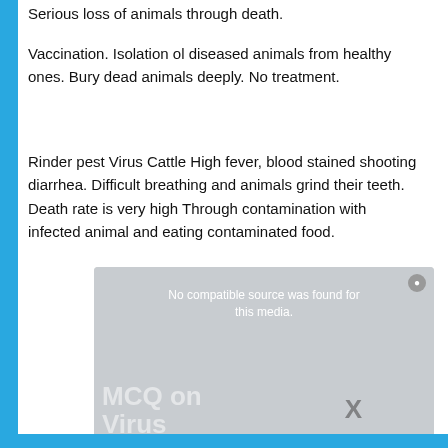Serious loss of animals through death.
Vaccination. Isolation ol diseased animals from healthy ones. Bury dead animals deeply. No treatment.
Rinder pest Virus Cattle High fever, blood stained shooting diarrhea. Difficult breathing and animals grind their teeth. Death rate is very high Through contamination with infected animal and eating contaminated food.
[Figure (screenshot): Video player overlay with message 'No compatible source was found for this media.' and background text 'MCQ on Virus' with an X close button]